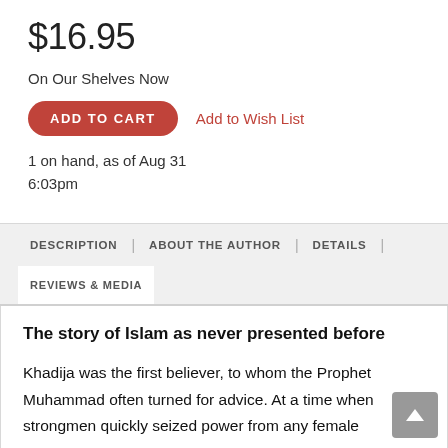$16.95
On Our Shelves Now
ADD TO CART   Add to Wish List
1 on hand, as of Aug 31
6:03pm
DESCRIPTION | ABOUT THE AUTHOR | DETAILS | REVIEWS & MEDIA
The story of Islam as never presented before
Khadija was the first believer, to whom the Prophet Muhammad often turned for advice. At a time when strongmen quickly seized power from any female